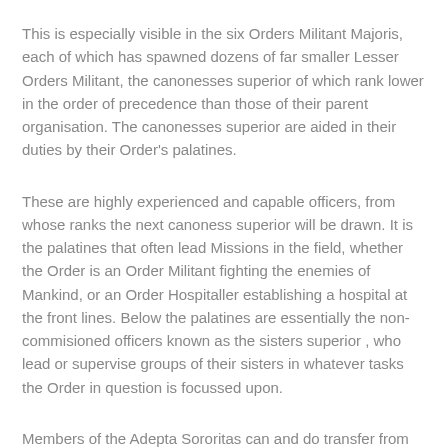This is especially visible in the six Orders Militant Majoris, each of which has spawned dozens of far smaller Lesser Orders Militant, the canonesses superior of which rank lower in the order of precedence than those of their parent organisation. The canonesses superior are aided in their duties by their Order's palatines.
These are highly experienced and capable officers, from whose ranks the next canoness superior will be drawn. It is the palatines that often lead Missions in the field, whether the Order is an Order Militant fighting the enemies of Mankind, or an Order Hospitaller establishing a hospital at the front lines. Below the palatines are essentially the non-commisioned officers known as the sisters superior , who lead or supervise groups of their sisters in whatever tasks the Order in question is focussed upon.
Members of the Adepta Sororitas can and do transfer from one Order to another, depending on their own unique skills and experience. In particular, a sister of an Order Militant may eventually transfer to a non-militant Order to carry on the Emperor's work should age or injury